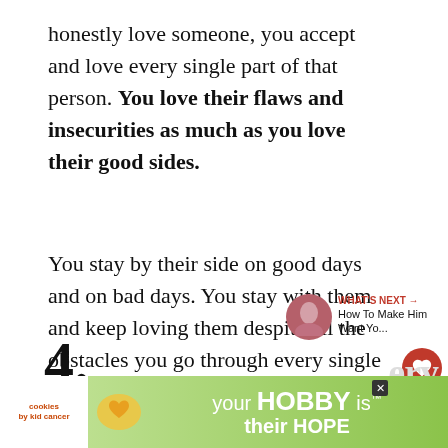honestly love someone, you accept and love every single part of that person. You love their flaws and insecurities as much as you love their good sides.
You stay by their side on good days and on bad days. You stay with them and keep loving them despite all the obstacles you go through every single day.
[Figure (screenshot): Social sharing sidebar with red heart icon showing 14 likes and a share icon]
[Figure (screenshot): What's Next widget showing a thumbnail and text: How To Make Him Want Yo...]
4.
[Figure (infographic): Advertisement banner: cookies by kid cancer logo, image of heart-shaped cookie, text: your HOBBY is their HOPE]